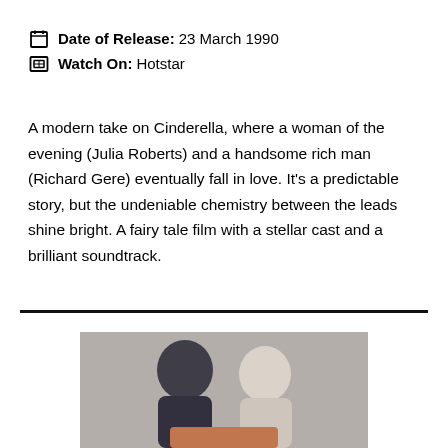Date of Release: 23 March 1990
Watch On: Hotstar
A modern take on Cinderella, where a woman of the evening (Julia Roberts) and a handsome rich man (Richard Gere) eventually fall in love. It’s a predictable story, but the undeniable chemistry between the leads shine bright. A fairy tale film with a stellar cast and a brilliant soundtrack.
[Figure (photo): A photograph showing two people, one in a dark outfit and one in a white shirt, cropped at bottom of page]